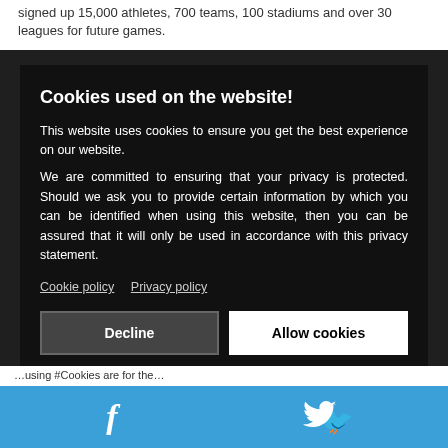signed up 15,000 athletes, 700 teams, 100 stadiums and over 30 leagues for future games.
They include the Premier League, Bundesliga, the…
Cookies used on the website!
This website uses cookies to ensure you get the best experience on our website.
We are committed to ensuring that your privacy is protected. Should we ask you to provide certain information by which you can be identified when using this website, then you can be assured that it will only be used in accordance with this privacy statement.
Cookie policy   Privacy policy
Decline   Allow cookies
…using #Cookies are for the…